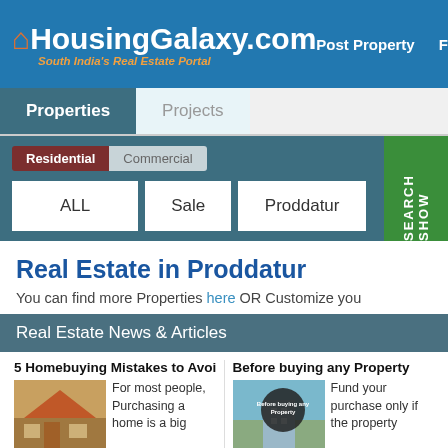HousingGalaxy.com — South India's Real Estate Portal | Post Property | Fi...
Properties | Projects
Residential | Commercial
ALL | Sale | Proddatur | SHOW SEARCH
Real Estate in Proddatur
You can find more Properties here OR Customize you
Real Estate News & Articles
5 Homebuying Mistakes to Avoid
For most people, Purchasing a home is a big
Before buying any Property
Fund your purchase only if the property